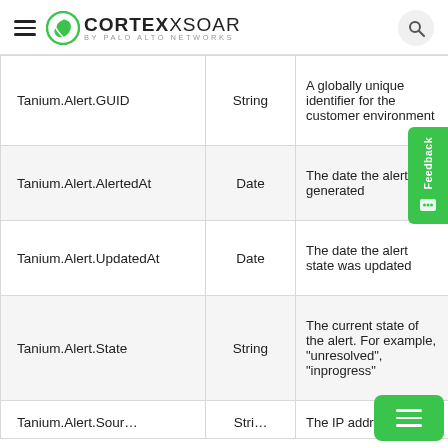CORTEX XSOAR by Palo Alto Networks
| Path | Type | Description |
| --- | --- | --- |
| Tanium.Alert.GUID | String | A globally unique identifier for the customer environment |
| Tanium.Alert.AlertedAt | Date | The date the alert was generated |
| Tanium.Alert.UpdatedAt | Date | The date the alert state was updated |
| Tanium.Alert.State | String | The current state of the alert. For example, "unresolved", "inprogress" |
| Tanium.Alert.SourceAlertId | String | The IP address... |